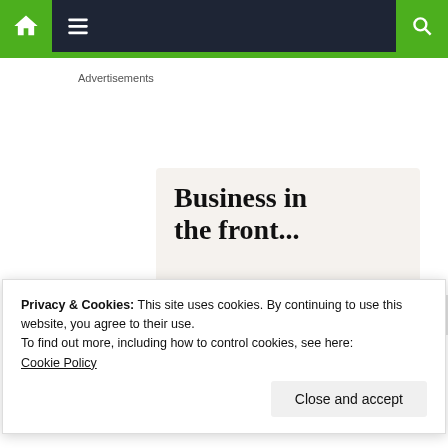Navigation bar with home icon, menu icon, and search icon
Advertisements
[Figure (screenshot): Advertisement banner showing 'Business in the front... WordPress in the back.' with colorful gradient background and WP logo area]
Privacy & Cookies: This site uses cookies. By continuing to use this website, you agree to their use.
To find out more, including how to control cookies, see here:
Cookie Policy
Close and accept